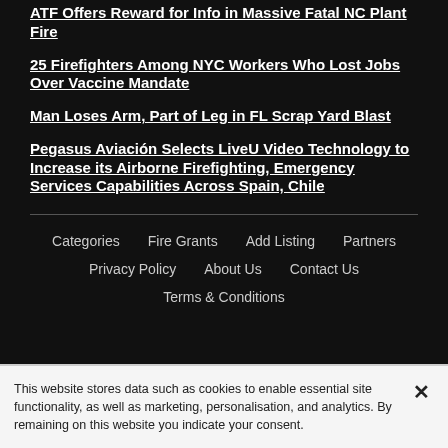ATF Offers Reward for Info in Massive Fatal NC Plant Fire
25 Firefighters Among NYC Workers Who Lost Jobs Over Vaccine Mandate
Man Loses Arm, Part of Leg in FL Scrap Yard Blast
Pegasus Aviación Selects LiveU Video Technology to Increase its Airborne Firefighting, Emergency Services Capabilities Across Spain, Chile
Categories  Fire Grants  Add Listing  Partners  Privacy Policy  About Us  Contact Us  Terms & Conditions
This website stores data such as cookies to enable essential site functionality, as well as marketing, personalisation, and analytics. By remaining on this website you indicate your consent.